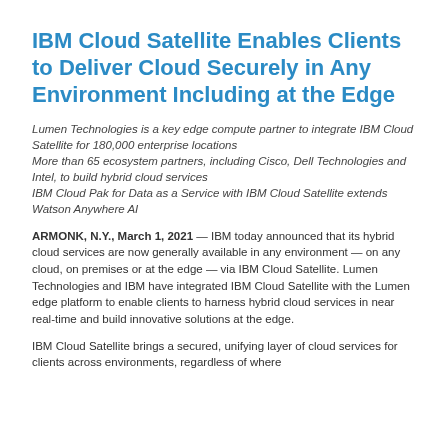IBM Cloud Satellite Enables Clients to Deliver Cloud Securely in Any Environment Including at the Edge
Lumen Technologies is a key edge compute partner to integrate IBM Cloud Satellite for 180,000 enterprise locations
More than 65 ecosystem partners, including Cisco, Dell Technologies and Intel, to build hybrid cloud services
IBM Cloud Pak for Data as a Service with IBM Cloud Satellite extends Watson Anywhere AI
ARMONK, N.Y., March 1, 2021 — IBM today announced that its hybrid cloud services are now generally available in any environment — on any cloud, on premises or at the edge — via IBM Cloud Satellite. Lumen Technologies and IBM have integrated IBM Cloud Satellite with the Lumen edge platform to enable clients to harness hybrid cloud services in near real-time and build innovative solutions at the edge.
IBM Cloud Satellite brings a secured, unifying layer of cloud services for clients across environments, regardless of where